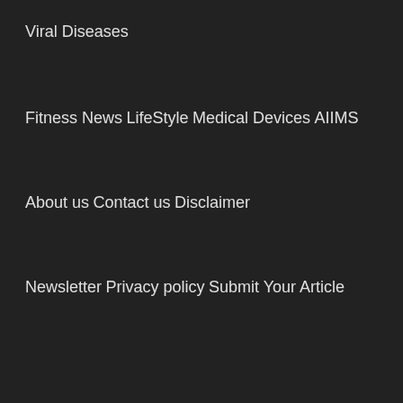Viral Diseases
Fitness News
LifeStyle
Medical Devices
AIIMS
About us
Contact us
Disclaimer
Newsletter
Privacy policy
Submit Your Article